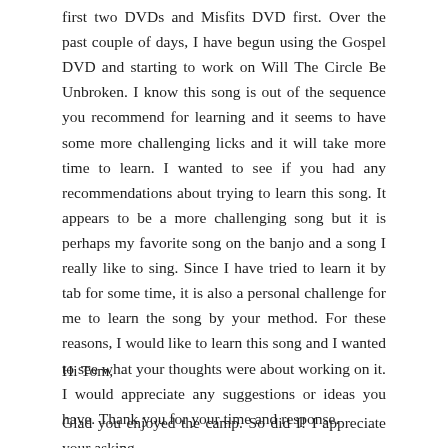first two DVDs and Misfits DVD first. Over the past couple of days, I have begun using the Gospel DVD and starting to work on Will The Circle Be Unbroken. I know this song is out of the sequence you recommend for learning and it seems to have some more challenging licks and it will take more time to learn. I wanted to see if you had any recommendations about trying to learn this song. It appears to be a more challenging song but it is perhaps my favorite song on the banjo and a song I really like to sing. Since I have tried to learn it by tab for some time, it is also a personal challenge for me to learn the song by your method. For these reasons, I would like to learn this song and I wanted to see what your thoughts were about working on it. I would appreciate any suggestions or ideas you have. Thank you for your time and response.
Hi Tom,
Glad you enjoyed the camp. So did I! I appreciate your asking